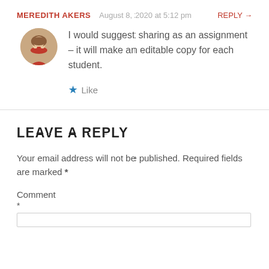MEREDITH AKERS  August 8, 2020 at 5:12 pm  REPLY →
[Figure (photo): Circular avatar photo of a woman with long hair, smiling]
I would suggest sharing as an assignment – it will make an editable copy for each student.
★ Like
LEAVE A REPLY
Your email address will not be published. Required fields are marked *
Comment
*